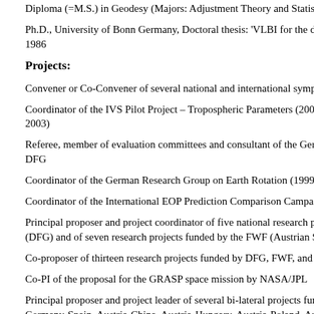Diploma (=M.S.) in Geodesy (Majors: Adjustment Theory and Statistics, Photo…
Ph.D., University of Bonn Germany, Doctoral thesis: 'VLBI for the determinatio… 1986
Projects:
Convener or Co-Convener of several national and international symposia, me…
Coordinator of the IVS Pilot Project – Tropospheric Parameters (2002-2003) a… 2003)
Referee, member of evaluation committees and consultant of the German Min… DFG
Coordinator of the German Research Group on Earth Rotation (1999-2003) fu…
Coordinator of the International EOP Prediction Comparison Campaign (EOP_…
Principal proposer and project coordinator of five national research projects fu… (DFG) and of seven research projects funded by the FWF (Austrian Science F…
Co-proposer of thirteen research projects funded by DFG, FWF, and other fun…
Co-PI of the proposal for the GRASP space mission by NASA/JPL
Principal proposer and project leader of several bi-lateral projects funded by D… Germany-Spain, Austria-China, Austria-Hungary, Austria-Poland, Austria-Spai… several Balkan countries
Supervisor, reviewer or examiner of more than 30 diploma theses, of 26 docto…
At present: Supervisor of eight doctor theses, which will be completed within t…